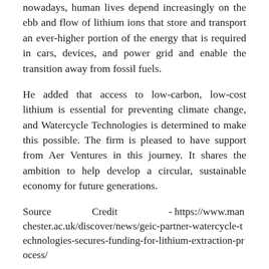nowadays, human lives depend increasingly on the ebb and flow of lithium ions that store and transport an ever-higher portion of the energy that is required in cars, devices, and power grid and enable the transition away from fossil fuels.
He added that access to low-carbon, low-cost lithium is essential for preventing climate change, and Watercycle Technologies is determined to make this possible. The firm is pleased to have support from Aer Ventures in this journey. It shares the ambition to help develop a circular, sustainable economy for future generations.
Source Credit - https://www.manchester.ac.uk/discover/news/geic-partner-watercycle-technologies-secures-funding-for-lithium-extraction-process/
share